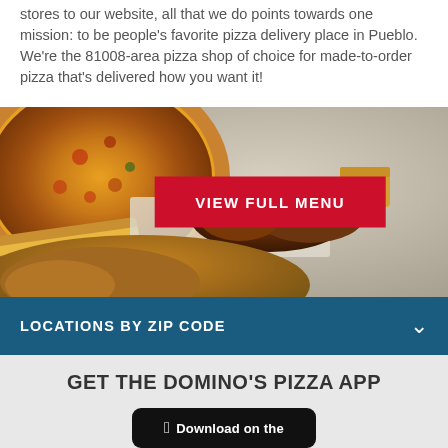stores to our website, all that we do points towards one mission: to be people's favorite pizza delivery place in Pueblo. We're the 81008-area pizza shop of choice for made-to-order pizza that's delivered how you want it!
[Figure (photo): Photo of Domino's food items including pizza, sandwich, chicken wings, and other food on a metal surface, with a red 'VIEW FULL MENU' button overlaid in the center]
LOCATIONS BY ZIP CODE
GET THE DOMINO'S PIZZA APP
[Figure (screenshot): App store download button showing 'Download on the' with an Apple logo icon on a black rounded rectangle button]